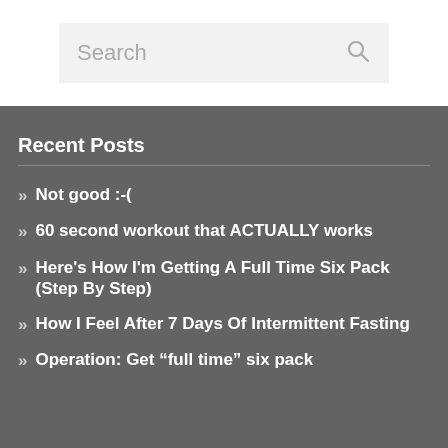[Figure (screenshot): Search bar with placeholder text 'Search' and a magnifying glass icon on the right]
Recent Posts
Not good :-(
60 second workout that ACTUALLY works
Here's How I'm Getting A Full Time Six Pack (Step By Step)
How I Feel After 7 Days Of Intermittent Fasting
Operation: Get “full time” six pack